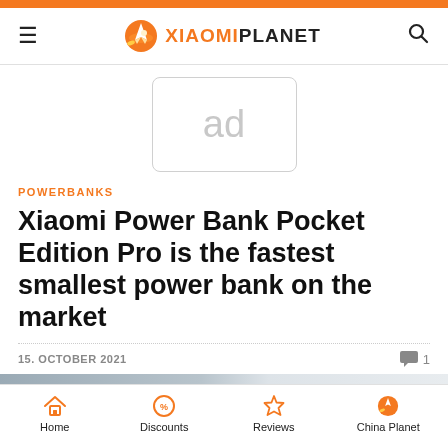XiaomiPlanet
[Figure (other): Ad placeholder box with 'ad' text]
POWERBANKS
Xiaomi Power Bank Pocket Edition Pro is the fastest smallest power bank on the market
15. OCTOBER 2021  💬 1
[Figure (photo): Partial product photo of the Xiaomi Power Bank Pocket Edition Pro]
Home  Discounts  Reviews  China Planet